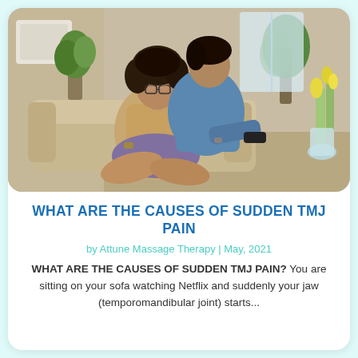[Figure (photo): A young couple sitting on a sofa watching TV. A woman with curly hair and glasses wearing a tan shirt sits cross-legged in front of a man in a blue shirt who holds a TV remote. There are plants and yellow tulips in the background.]
WHAT ARE THE CAUSES OF SUDDEN TMJ PAIN
by Attune Massage Therapy | May, 2021
WHAT ARE THE CAUSES OF SUDDEN TMJ PAIN? You are sitting on your sofa watching Netflix and suddenly your jaw (temporomandibular joint) starts...